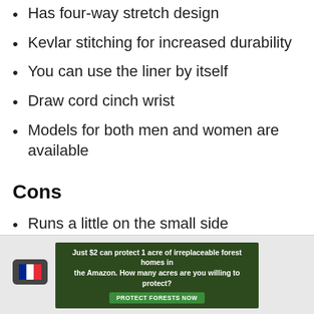Has four-way stretch design
Kevlar stitching for increased durability
You can use the liner by itself
Draw cord cinch wrist
Models for both men and women are available
Cons
Runs a little on the small side
Clip that holds the mittens together is fragile
[Figure (other): Advertisement banner: Just $2 can protect 1 acre of irreplaceable forest homes in the Amazon. How many acres are you willing to protect? PROTECT FORESTS NOW button, with French flag icon overlay]